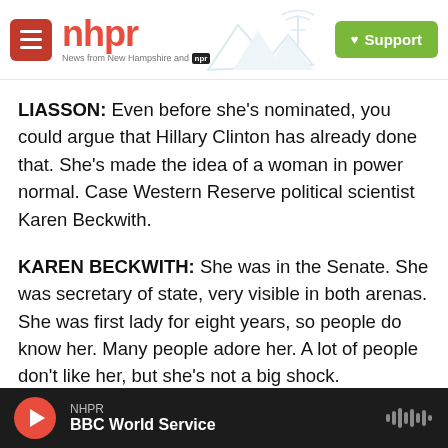[Figure (logo): NHPR (New Hampshire Public Radio) website header with red hamburger menu button, red NHPR logo text, tagline 'News from New Hampshire and NPR', mountain/radio tower silhouette illustration, and green Support button with heart icon]
LIASSON: Even before she's nominated, you could argue that Hillary Clinton has already done that. She's made the idea of a woman in power normal. Case Western Reserve political scientist Karen Beckwith.
KAREN BECKWITH: She was in the Senate. She was secretary of state, very visible in both arenas. She was first lady for eight years, so people do know her. Many people adore her. A lot of people don't like her, but she's not a big shock.
LIASSON: ...Clinton definitely...State...
[Figure (screenshot): Audio player bar at bottom: red circular play button, NHPR label, BBC World Service show title, waveform icon on right, dark background]